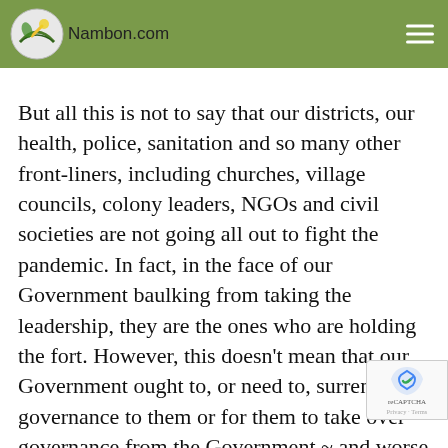Nambon.com
But all this is not to say that our districts, our health, police, sanitation and so many other front-liners, including churches, village councils, colony leaders, NGOs and civil societies are not going all out to fight the pandemic. In fact, in the face of our Government baulking from taking the leadership, they are the ones who are holding the fort. However, this doesn't mean that our Government ought to, or need to, surrender governance to them or for them to take over governance from the Government ~ and worse still dictate governance to the Government. But as is human nature ~ give an inch and a mile would be taken. So, if the Government gives in even half an inch miles would be taken and that is exactly what we see happening. Our Government needs to own and